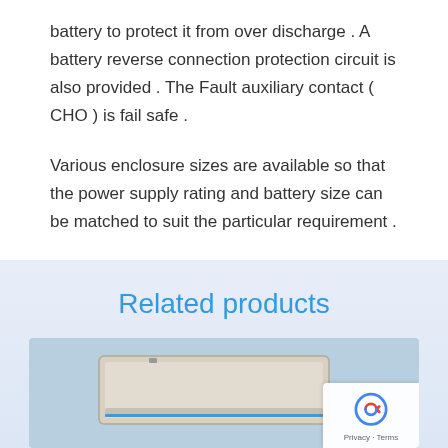battery to protect it from over discharge . A battery reverse connection protection circuit is also provided . The Fault auxiliary contact ( CHO ) is fail safe .
Various enclosure sizes are available so that the power supply rating and battery size can be matched to suit the particular requirement .
Related products
[Figure (photo): Product photo of an electronic enclosure/power supply unit with a light blue/grey background. A reCAPTCHA badge is visible in the bottom right corner.]